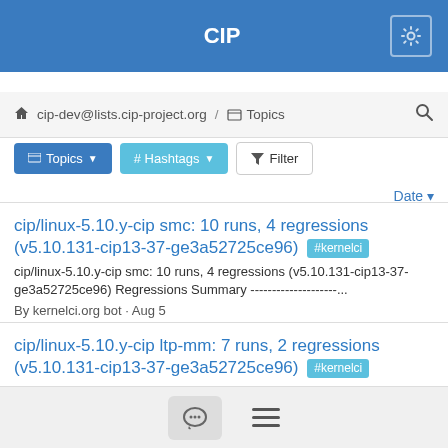CIP
cip-dev@lists.cip-project.org / Topics
Topics  # Hashtags  Filter
Date
cip/linux-5.10.y-cip smc: 10 runs, 4 regressions (v5.10.131-cip13-37-ge3a52725ce96) #kernelci
cip/linux-5.10.y-cip smc: 10 runs, 4 regressions (v5.10.131-cip13-37-ge3a52725ce96) Regressions Summary --------------------...
By kernelci.org bot · Aug 5
cip/linux-5.10.y-cip ltp-mm: 7 runs, 2 regressions (v5.10.131-cip13-37-ge3a52725ce96) #kernelci